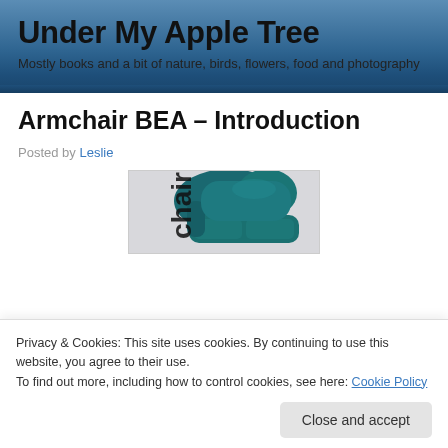Under My Apple Tree
Mostly books and a bit of nature, birds, flowers, food and photography
Armchair BEA – Introduction
Posted by Leslie
[Figure (photo): Teal/blue armchair with text 'chair' overlaid, photo for Armchair BEA blog post]
Privacy & Cookies: This site uses cookies. By continuing to use this website, you agree to their use.
To find out more, including how to control cookies, see here: Cookie Policy